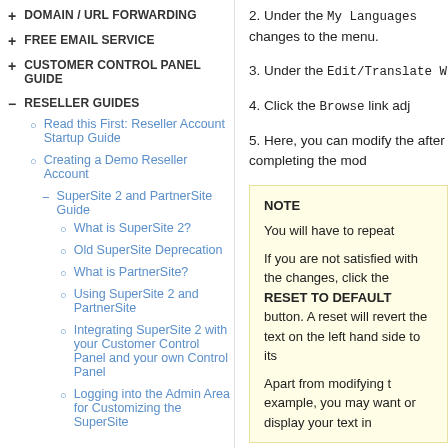+ DOMAIN / URL FORWARDING
+ FREE EMAIL SERVICE
+ CUSTOMER CONTROL PANEL GUIDE
- RESELLER GUIDES
○ Read this First: Reseller Account Startup Guide
○ Creating a Demo Reseller Account
- SuperSite 2 and PartnerSite Guide
○ What is SuperSite 2?
○ Old SuperSite Deprecation
○ What is PartnerSite?
○ Using SuperSite 2 and PartnerSite
○ Integrating SuperSite 2 with your Customer Control Panel and your own Control Panel
○ Logging into the Admin Area for Customizing the SuperSite
2. Under the My Languages changes to the menu.
3. Under the Edit/Translate W
4. Click the Browse link adj
5. Here, you can modify the after completing the mod
NOTE
You will have to repeat
If you are not satisfied with the changes, click the RESET TO DEFAULT button. A reset will revert the text on the left hand side to its original state.
Apart from modifying the text, for example, you may want to or display your text in